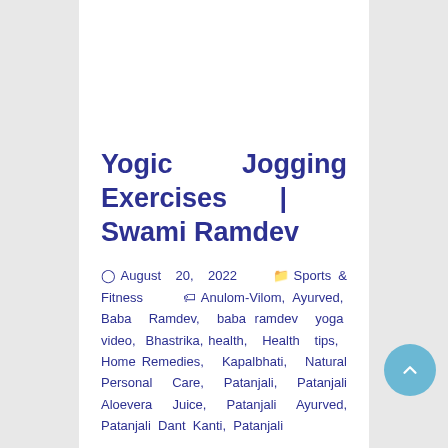Yogic Jogging Exercises | Swami Ramdev
August 20, 2022   Sports & Fitness   Anulom-Vilom, Ayurved, Baba Ramdev, baba ramdev yoga video, Bhastrika, health, Health tips, Home Remedies, Kapalbhati, Natural Personal Care, Patanjali, Patanjali Aloevera Juice, Patanjali Ayurved, Patanjali Dant Kanti, Patanjali